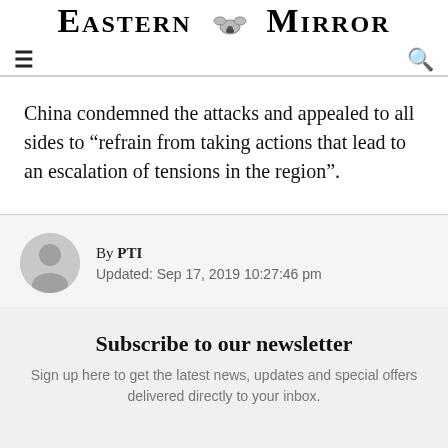Eastern Mirror
China condemned the attacks and appealed to all sides to “refrain from taking actions that lead to an escalation of tensions in the region”.
By PTI
Updated: Sep 17, 2019 10:27:46 pm
Subscribe to our newsletter
Sign up here to get the latest news, updates and special offers delivered directly to your inbox.